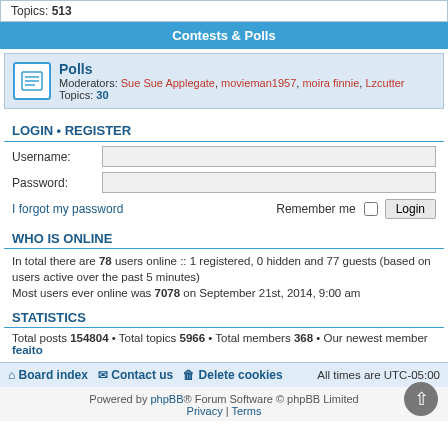Topics: 513
Contests & Polls
Polls
Moderators: Sue Sue Applegate, movieman1957, moira finnie, Lzcutter
Topics: 30
LOGIN • REGISTER
Username:
Password:
I forgot my password
Remember me
WHO IS ONLINE
In total there are 78 users online :: 1 registered, 0 hidden and 77 guests (based on users active over the past 5 minutes)
Most users ever online was 7078 on September 21st, 2014, 9:00 am
STATISTICS
Total posts 154804 • Total topics 5966 • Total members 368 • Our newest member feaito
Board index   Contact us   Delete cookies   All times are UTC-05:00
Powered by phpBB® Forum Software © phpBB Limited
Privacy | Terms